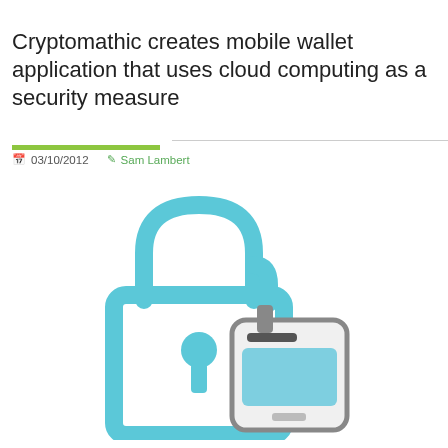Cryptomathic creates mobile wallet application that uses cloud computing as a security measure
03/10/2012   Sam Lambert
[Figure (illustration): Illustration of a padlock icon in light blue outline style with a mobile phone/device icon overlapping on the right side, rendered in gray and blue tones.]